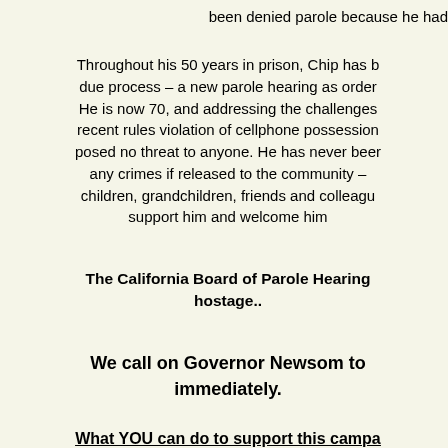been denied parole because he had
Throughout his 50 years in prison, Chip has been fighting for due process – a new parole hearing as ordered by the courts. He is now 70, and addressing the challenges he faces, including a recent rules violation of cellphone possession, does not mean he posed no threat to anyone. He has never been convicted of any crimes if released to the community – he has family, children, grandchildren, friends and colleagues who support him and welcome him
The California Board of Parole Hearings is holding him hostage..
We call on Governor Newsom to intervene immediately.
What YOU can do to support this campaign